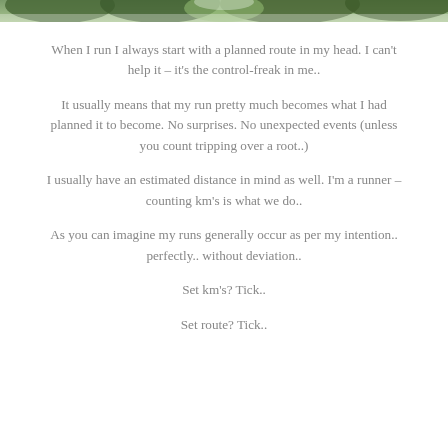[Figure (photo): Partial top edge of a nature/outdoor photo showing foliage and green scenery, cropped at the top of the page.]
When I run I always start with a planned route in my head. I can't help it – it's the control-freak in me..
It usually means that my run pretty much becomes what I had planned it to become. No surprises. No unexpected events (unless you count tripping over a root..)
I usually have an estimated distance in mind as well. I'm a runner – counting km's is what we do..
As you can imagine my runs generally occur as per my intention.. perfectly.. without deviation..
Set km's? Tick..
Set route? Tick..